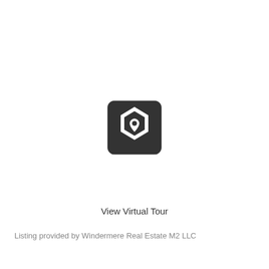[Figure (logo): Matterport-style virtual tour icon: dark rounded square with a hexagonal ring and a drop shape in the center]
View Virtual Tour
Listing provided by Windermere Real Estate M2 LLC